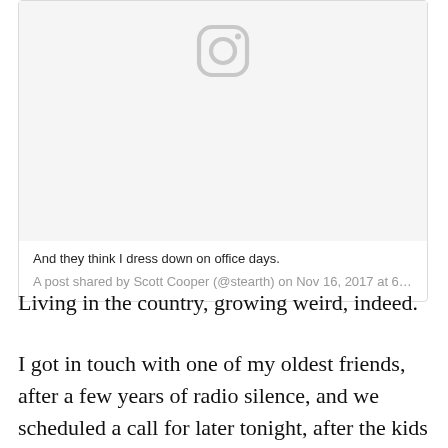[Figure (screenshot): Instagram embed placeholder showing camera icon, caption 'And they think I dress down on office days.', and attribution 'A post shared by Scott Cooper (@stearth) on Nov 16, 2017 at 6…']
Living in the country, growing weird, indeed.
I got in touch with one of my oldest friends, after a few years of radio silence, and we scheduled a call for later tonight, after the kids are in bed. So great. Such a relief.